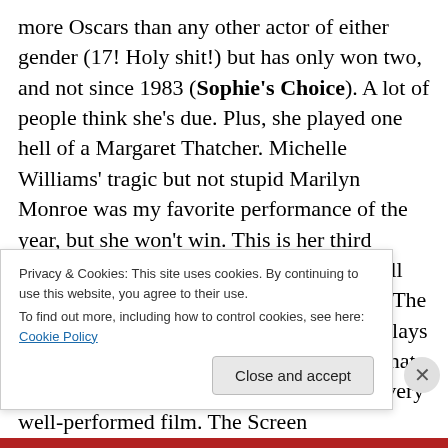more Oscars than any other actor of either gender (17! Holy shit!) but has only won two, and not since 1983 (Sophie's Choice). A lot of people think she's due. Plus, she played one hell of a Margaret Thatcher. Michelle Williams' tragic but not stupid Marilyn Monroe was my favorite performance of the year, but she won't win. This is her third nomination and I'm willing to bet more will follow with a win inevitably in her future. The dark horse contender is Viola Davis who plays a strong character with a resolute dignity that to me was the stand out performance in a very well-performed film. The Screen
Privacy & Cookies: This site uses cookies. By continuing to use this website, you agree to their use.
To find out more, including how to control cookies, see here: Cookie Policy
Close and accept